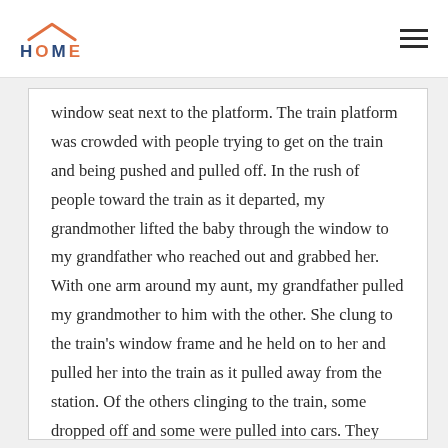HOME
window seat next to the platform. The train platform was crowded with people trying to get on the train and being pushed and pulled off. In the rush of people toward the train as it departed, my grandmother lifted the baby through the window to my grandfather who reached out and grabbed her. With one arm around my aunt, my grandfather pulled my grandmother to him with the other. She clung to the train’s window frame and he held on to her and pulled her into the train as it pulled away from the station. Of the others clinging to the train, some dropped off and some were pulled into cars. They made their way to a ship that took them to Southampton, UK, where they spent weeks in a detainment center before boarding the ship, Empress of Australia, for Quebec, Canada.